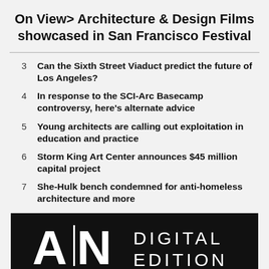On View> Architecture & Design Films showcased in San Francisco Festival
3  Can the Sixth Street Viaduct predict the future of Los Angeles?
4  In response to the SCI-Arc Basecamp controversy, here's alternate advice
5  Young architects are calling out exploitation in education and practice
6  Storm King Art Center announces $45 million capital project
7  She-Hulk bench condemned for anti-homeless architecture and more
[Figure (logo): AN (Architect's Newspaper) logo with DIGITAL EDITION text on black background]